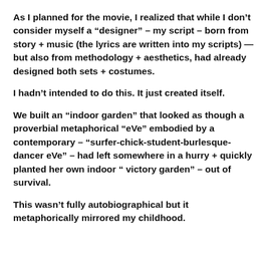As I planned for the movie, I realized that while I don't consider myself a “designer” – my script – born from story + music (the lyrics are written into my scripts) — but also from methodology + aesthetics, had already designed both sets + costumes.
I hadn’t intended to do this. It just created itself.
We built an “indoor garden” that looked as though a proverbial metaphorical “eVe” embodied by a contemporary – “surfer-chick-student-burlesque-dancer eVe” – had left somewhere in a hurry + quickly planted her own indoor “ victory garden” – out of survival.
This wasn’t fully autobiographical but it metaphorically mirrored my childhood.